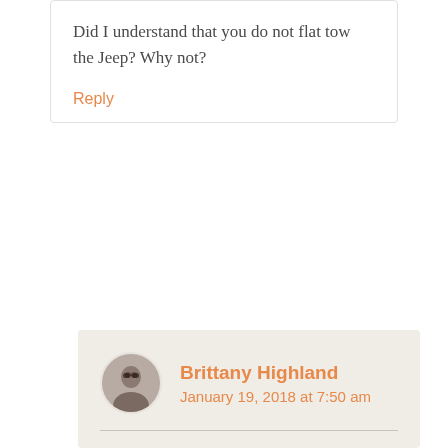Did I understand that you do not flat tow the Jeep? Why not?
Reply
Brittany Highland
January 19, 2018 at 7:50 am
Yes, that's correct. We do not tow our Jeep. When we started in 2014, it was because our Jeep Commander was not 4-wheel drive. It was actually…